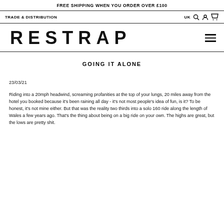FREE SHIPPING WHEN YOU ORDER OVER £100
TRADE & DISTRIBUTION   UK 🔍 👤 🛒
RESTRAP
GOING IT ALONE
23/03/21
Riding into a 20mph headwind, screaming profanities at the top of your lungs, 20 miles away from the hotel you booked because it's been raining all day - it's not most people's idea of fun, is it? To be honest, it's not mine either. But that was the reality two thirds into a solo 160 ride along the length of Wales a few years ago. That's the thing about being on a big ride on your own. The highs are great, but the lows are pretty shit.